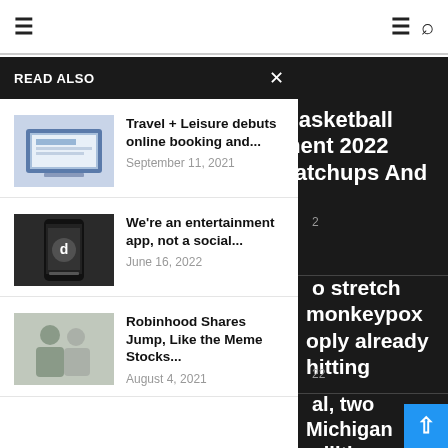Navigation bar with hamburger menu and search icon
READ ALSO
Travel + Leisure debuts online booking and...
September 11, 2021
We're an entertainment app, not a social...
June 16, 2022
Robinhood Shares Jump, Like the Meme Stocks...
August 4, 2021
NCAA Basketball Tournament 2022 Odds, Matchups And ends
…stretch monkeypox …ply already hitting
…al, two Michigan militia …s are convicted of …o kidnap Gov. Whitmer